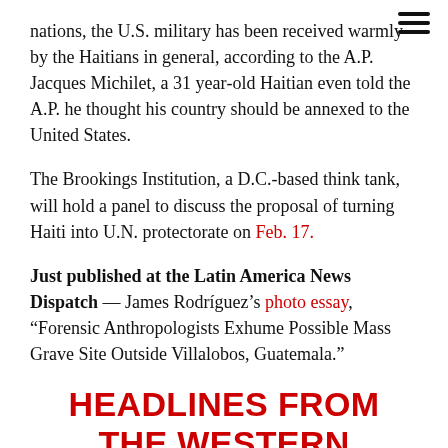nations, the U.S. military has been received warmly by the Haitians in general, according to the A.P. Jacques Michilet, a 31 year-old Haitian even told the A.P. he thought his country should be annexed to the United States.
The Brookings Institution, a D.C.-based think tank, will hold a panel to discuss the proposal of turning Haiti into U.N. protectorate on Feb. 17.
Just published at the Latin America News Dispatch — James Rodríguez's photo essay, "Forensic Anthropologists Exhume Possible Mass Grave Site Outside Villalobos, Guatemala."
HEADLINES FROM THE WESTERN HEMISPHERE
North America